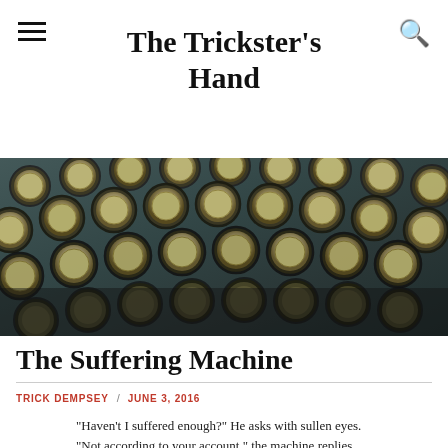The Trickster's Hand
[Figure (photo): Close-up photograph of vintage typewriter keys, teal/dark toned, showing circular metal keys with letters, viewed from above at an angle.]
The Suffering Machine
TRICK DEMPSEY / JUNE 3, 2016
“Haven’t I suffered enough?” He asks with sullen eyes. “Not according to your account,” the machine replies. Lucien Parish’s bandaged hand shakes as he slips it into the opening on the front of the machine. The opening leads into the machine’s suffering box, a convenience which